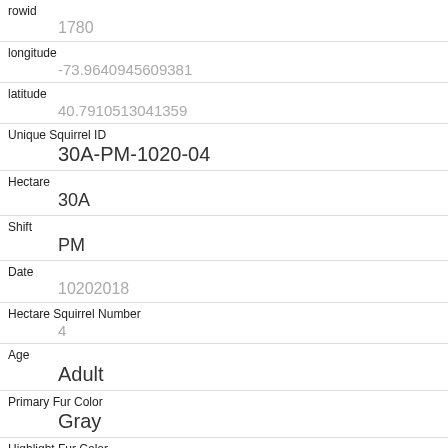| Field | Value |
| --- | --- |
| rowid | 1780 |
| longitude | -73.9640945609381 |
| latitude | 40.7910513041359 |
| Unique Squirrel ID | 30A-PM-1020-04 |
| Hectare | 30A |
| Shift | PM |
| Date | 10202018 |
| Hectare Squirrel Number | 4 |
| Age | Adult |
| Primary Fur Color | Gray |
| Highlight Fur Color |  |